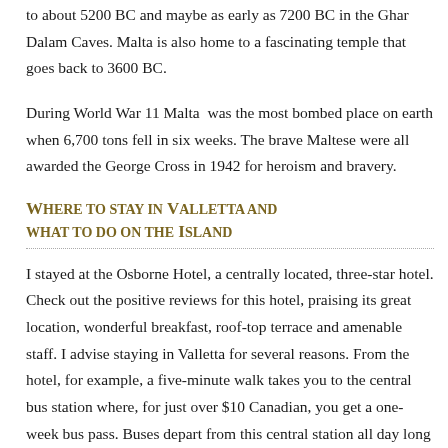to about 5200 BC and maybe as early as 7200 BC in the Ghar Dalam Caves. Malta is also home to a fascinating temple that goes back to 3600 BC.
During World War 11 Malta  was the most bombed place on earth when 6,700 tons fell in six weeks. The brave Maltese were all awarded the George Cross in 1942 for heroism and bravery.
Where to stay in Valletta and what to do on the Island
I stayed at the Osborne Hotel, a centrally located, three-star hotel. Check out the positive reviews for this hotel, praising its great location, wonderful breakfast, roof-top terrace and amenable staff. I advise staying in Valletta for several reasons. From the hotel, for example, a five-minute walk takes you to the central bus station where, for just over $10 Canadian, you get a one-week bus pass. Buses depart from this central station all day long to all the important tourist sites on